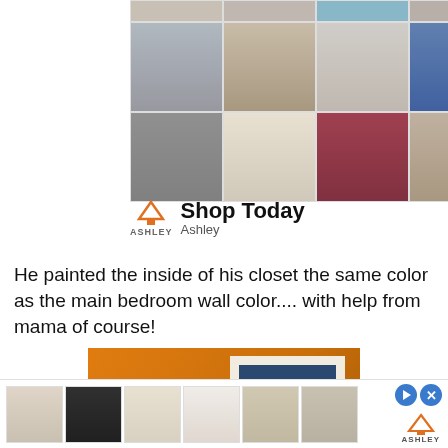[Figure (photo): Ashley furniture advertisement showing a grid of 8 product images including bedding, rugs, chairs, wall art, bedroom furniture, and a fireplace TV stand]
[Figure (logo): Ashley Furniture logo with orange house icon and 'Shop Today' text]
He painted the inside of his closet the same color as the main bedroom wall color.... with help from mama of course!
[Figure (photo): Photo of an orange painted wall with a white-framed mirror reflecting blue, partially visible closet interior]
[Figure (photo): Bottom advertisement strip showing 6 thumbnail furniture images from Ashley Furniture]